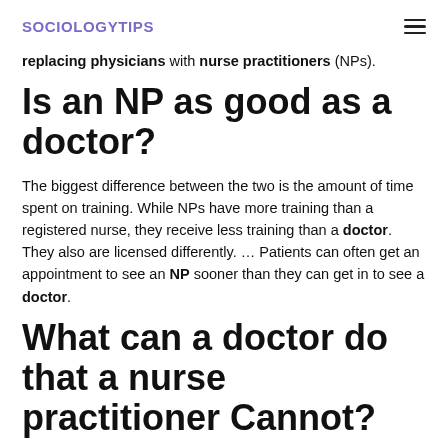SOCIOLOGYTIPS
replacing physicians with nurse practitioners (NPs).
Is an NP as good as a doctor?
The biggest difference between the two is the amount of time spent on training. While NPs have more training than a registered nurse, they receive less training than a doctor. They also are licensed differently. … Patients can often get an appointment to see an NP sooner than they can get in to see a doctor.
What can a doctor do that a nurse practitioner Cannot?